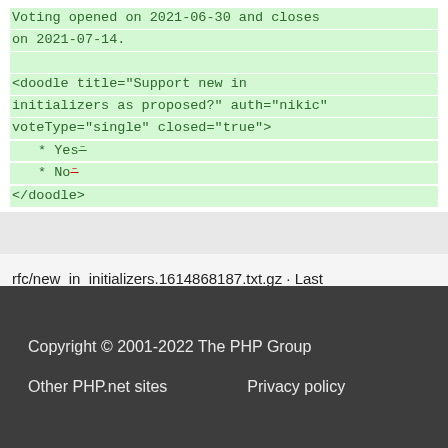Voting opened on 2021-06-30 and closes on 2021-07-14.
<doodle title="Support new in initializers as proposed?" auth="nikic" voteType="single" closed="true">
* Yes (strikethrough)
* No (strikethrough)
</doodle>
rfc/new_in_initializers.1614868187.txt.gz · Last modified: 2021/03/04 14:29 by nikic
Copyright © 2001-2022 The PHP Group
Other PHP.net sites    Privacy policy